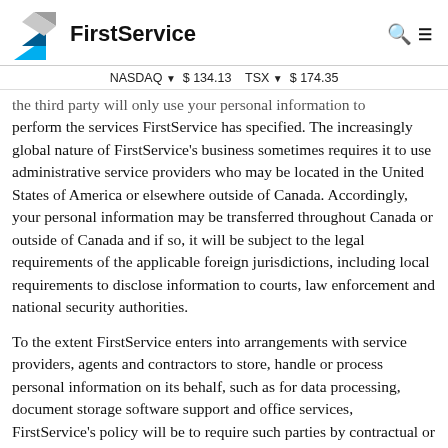FirstService | NASDAQ $134.13  TSX $174.35
the third party will only use your personal information to perform the services FirstService has specified. The increasingly global nature of FirstService's business sometimes requires it to use administrative service providers who may be located in the United States of America or elsewhere outside of Canada. Accordingly, your personal information may be transferred throughout Canada or outside of Canada and if so, it will be subject to the legal requirements of the applicable foreign jurisdictions, including local requirements to disclose information to courts, law enforcement and national security authorities.
To the extent FirstService enters into arrangements with service providers, agents and contractors to store, handle or process personal information on its behalf, such as for data processing, document storage software support and office services, FirstService's policy will be to require such parties by contractual or other means to provide comparable privacy protections disclosing information as those applicable to it.